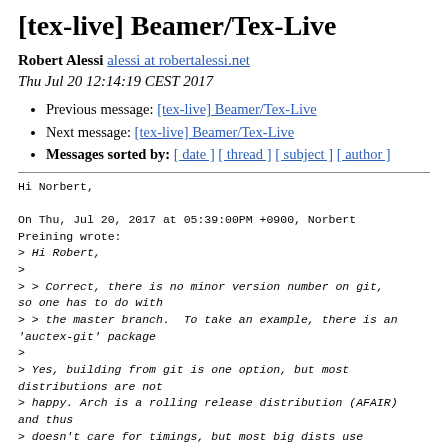[tex-live] Beamer/Tex-Live
Robert Alessi alessi at robertalessi.net
Thu Jul 20 12:14:19 CEST 2017
Previous message: [tex-live] Beamer/Tex-Live
Next message: [tex-live] Beamer/Tex-Live
Messages sorted by: [ date ] [ thread ] [ subject ] [ author ]
Hi Norbert,

On Thu, Jul 20, 2017 at 05:39:00PM +0900, Norbert Preining wrote:
> Hi Robert,
>
> > Correct, there is no minor version number on git, so one has to do with
> > the master branch.  To take an example, there is an 'auctex-git' package
>
> Yes, building from git is one option, but most distributions are not
> happy. Arch is a rolling release distribution (AFAIR) and thus
> doesn't care for timings, but most big dists use
generally released